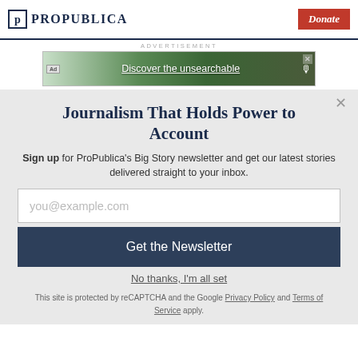ProPublica | Donate
ADVERTISEMENT
[Figure (screenshot): Advertisement banner: 'Discover the unsearchable' with forest background image]
Journalism That Holds Power to Account
Sign up for ProPublica's Big Story newsletter and get our latest stories delivered straight to your inbox.
you@example.com
Get the Newsletter
No thanks, I'm all set
This site is protected by reCAPTCHA and the Google Privacy Policy and Terms of Service apply.